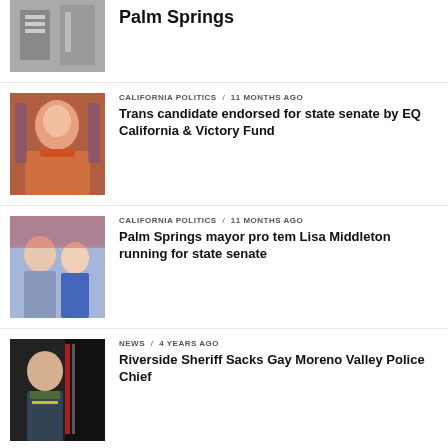[Figure (photo): Thumbnail image - library/building interior]
Palm Springs
[Figure (photo): Woman with glasses and orange jacket, bookshelves behind]
CALIFORNIA POLITICS / 11 months ago
Trans candidate endorsed for state senate by EQ California & Victory Fund
[Figure (photo): Two women standing at an event backdrop]
CALIFORNIA POLITICS / 11 months ago
Palm Springs mayor pro tem Lisa Middleton running for state senate
[Figure (photo): Sheriff officer in uniform with American flag]
NEWS / 4 years ago
Riverside Sheriff Sacks Gay Moreno Valley Police Chief
MORE POSTS
ADVERTISEMENT